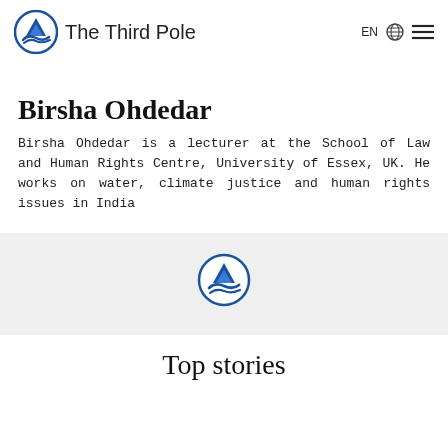The Third Pole
Birsha Ohdedar
Birsha Ohdedar is a lecturer at the School of Law and Human Rights Centre, University of Essex, UK. He works on water, climate justice and human rights issues in India
[Figure (logo): The Third Pole circular logo icon]
Top stories